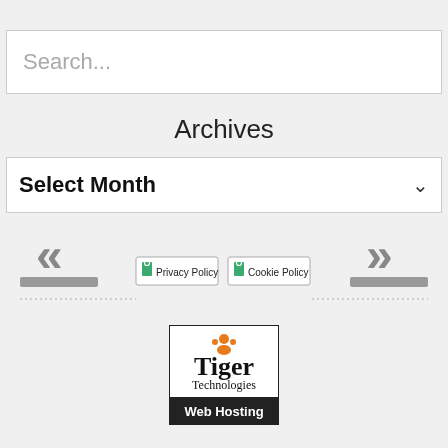Search...
Archives
Select Month
[Figure (screenshot): Navigation arrows (double chevrons left and right) with gray bars below them, and Privacy Policy and Cookie Policy buttons in the center]
[Figure (logo): Tiger Technologies Web Hosting logo with orange paw print, black serif text 'Tiger Technologies' and white 'Web Hosting' on black background]